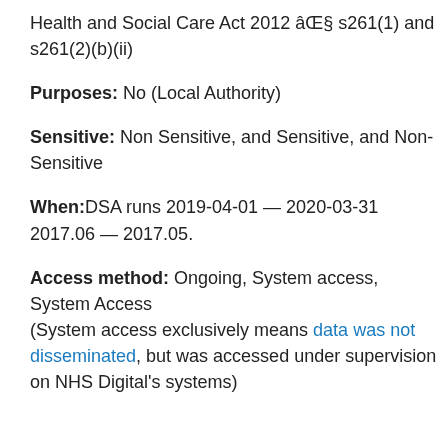Health and Social Care Act 2012 § s261(1) and s261(2)(b)(ii)
Purposes: No (Local Authority)
Sensitive: Non Sensitive, and Sensitive, and Non-Sensitive
When: DSA runs 2019-04-01 — 2020-03-31 2017.06 — 2017.05.
Access method: Ongoing, System access, System Access (System access exclusively means data was not disseminated, but was accessed under supervision on NHS Digital's systems)